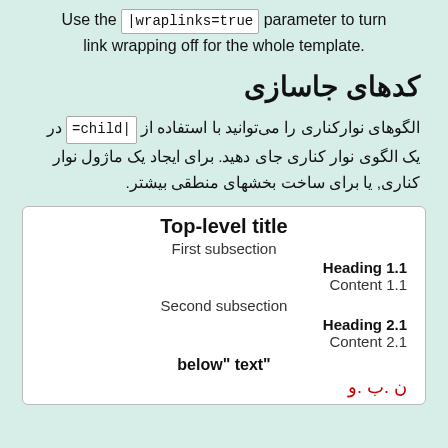Use the |wraplinks=true| parameter to turn link wrapping off for the whole template.
کدهای جاسازی
الگوهای نوارکناری را می‌توانید با استفاده از |child= در یک الگوی نوار کناری جای دهید. برای ایجاد یک ماژول نوار کناری, یا برای ساخت بخشهای منطقی بیشتر.
[Figure (screenshot): A box showing a template structure with Top-level title, First subsection, Heading 1.1, Content 1.1, Second subsection, Heading 2.1, Content 2.1, below text, and RTL characters at the bottom.]